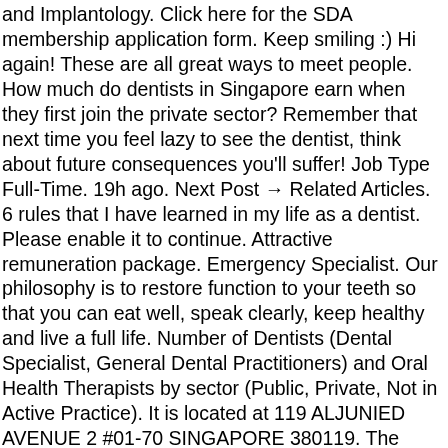and Implantology. Click here for the SDA membership application form. Keep smiling :) Hi again! These are all great ways to meet people. How much do dentists in Singapore earn when they first join the private sector? Remember that next time you feel lazy to see the dentist, think about future consequences you'll suffer! Job Type Full-Time. 19h ago. Next Post → Related Articles. 6 rules that I have learned in my life as a dentist. Please enable it to continue. Attractive remuneration package. Emergency Specialist. Our philosophy is to restore function to your teeth so that you can eat well, speak clearly, keep healthy and live a full life. Number of Dentists (Dental Specialist, General Dental Practitioners) and Oral Health Therapists by sector (Public, Private, Not in Active Practice). It is located at 119 ALJUNIED AVENUE 2 #01-70 SINGAPORE 380119. The clinic is visited by doctors like Dr. Matthias Quake. Work Life Balance. 3 Dental Problems You Should Never Ignore In Singapore . 2d ago. Some of the services provided by the Clinic are: Scaling & Polishing,CROWNS AND BRIDGES,Preventive Dentistry,BLEACHING and Fillings etc. Job Specializations Healthcare / Practitioner/Medical Asst. Dr Good Smile. Dental Clinic providing general dental service, implant, braces and invisalign. The loss of teeth has a profound impact on a patient's life. Read . Read.